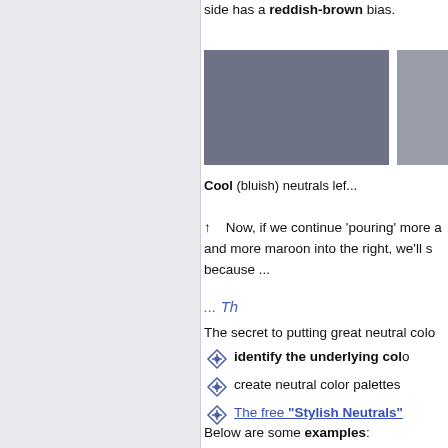side has a reddish-brown bias.
[Figure (illustration): Two color swatches shown side by side: a larger cool bluish-gray swatch on the left and a smaller lighter gray swatch on the right, illustrating cool (bluish) neutrals.]
Cool (bluish) neutrals left...
↑   Now, if we continue 'pouring' more and more maroon into the right, we'll see because ...
... Th
The secret to putting great neutral colo
identify the underlying col…
create neutral color palettes
The free "Stylish Neutrals"
Below are some examples: